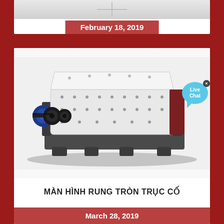February 18, 2019
[Figure (photo): Industrial vibrating screen machine with circular motion fixed shaft MF type — white body with blue motor, dark grey base frame]
MÀN HÌNH RUNG TRÒN TRỤC CỐ ĐỊNH DÒNG MF
March 28, 2019